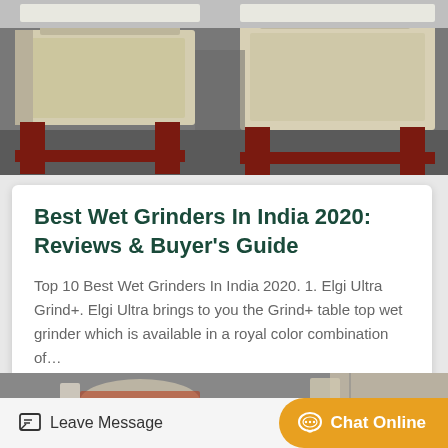[Figure (photo): Photo of industrial wet grinder machines on a factory floor, beige/cream colored machines on dark red metal frames]
Best Wet Grinders In India 2020: Reviews & Buyer's Guide
Top 10 Best Wet Grinders In India 2020. 1. Elgi Ultra Grind+. Elgi Ultra brings to you the Grind+ table top wet grinder which is available in a royal color combination of…
Get Price
[Figure (photo): Partial photo of another industrial machine or equipment]
Leave Message
Chat Online